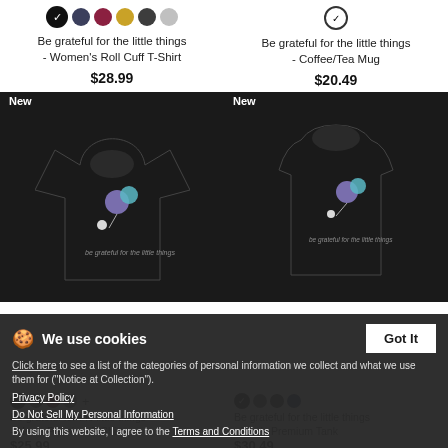[Figure (screenshot): Color swatches for Women's Roll Cuff T-Shirt: black (selected/checked), dark blue, dark red, yellow/gold, dark gray, light gray]
Be grateful for the little things - Women's Roll Cuff T-Shirt
$28.99
[Figure (screenshot): Check circle outline swatch for Coffee/Tea Mug]
Be grateful for the little things - Coffee/Tea Mug
$20.49
[Figure (photo): Black women's roll cuff t-shirt with 'be grateful for the little things' design showing small illustrated elements on chest, with 'New' badge]
[Figure (photo): Black men's premium tank top with 'be grateful for the little things' design, with 'New' badge]
[Figure (screenshot): Color swatches for bottom-left product: black(checked), dark, maroon, gray plus more]
Be grateful for the little things - Men's Premium T-Shirt
$25.99
[Figure (screenshot): Color swatches for bottom-right product: black(checked), dark gray, black, navy]
Be grateful for the little things - Men's Premium Tank
$30.49
We use cookies
Click here to see a list of the categories of personal information we collect and what we use them for ("Notice at Collection").
Privacy Policy
Do Not Sell My Personal Information
By using this website, I agree to the Terms and Conditions